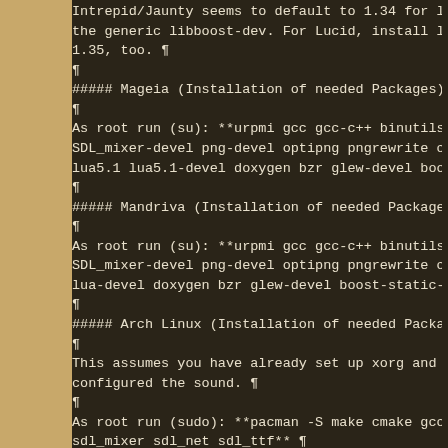Intrepid/Jaunty seems to default to 1.34 for libboost-dev. To force the generic libboost-dev. For Lucid, install libboost-all-dev instead of 1.35, too. ¶
¶
##### Mageia (Installation of needed Packages) ¶
¶
As root run (su): **urpmi gcc gcc-c++ binutils make boost-devel SDL_mixer-devel png-devel optipng pngrewrite ctags gettext-devel lua5.1 lua5.1-devel doxygen bzr glew-devel boost-static-devel mi ¶
¶
##### Mandriva (Installation of needed Packages) ¶
¶
As root run (su): **urpmi gcc gcc-c++ binutils make boost-devel SDL_mixer-devel png-devel optipng pngrewrite ctags gettext-dev lua-devel doxygen bzr glew-devel boost-static-devel** ¶
¶
##### Arch Linux (Installation of needed Packages) ¶
¶
This assumes you have already set up xorg and your favorite desktop environment, and configured the sound. ¶
¶
As root run (sudo): **pacman -S make cmake gcc boost bzr glew sdl_mixer sdl_net sdl_ttf** ¶